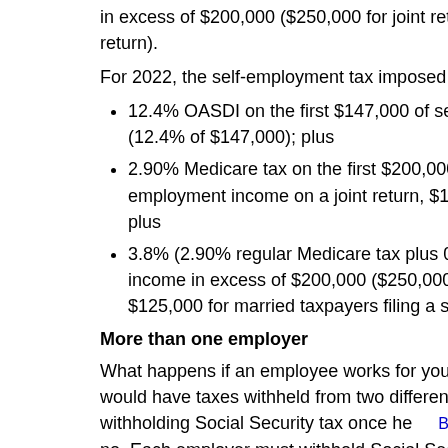in excess of $200,000 ($250,000 for joint returns, $125,000 for married taxpayers filing a separate return).
For 2022, the self-employment tax imposed on self-employed
12.4% OASDI on the first $147,000 of self-employment income (12.4% of $147,000); plus
2.90% Medicare tax on the first $200,000 of self-employment income on a joint return, $125,000 on a return of plus
3.8% (2.90% regular Medicare tax plus 0.9% additional Medicare income in excess of $200,000 ($250,000 of combined self-employment income, $125,000 for married taxpayers filing a separate return).
More than one employer
What happens if an employee works for your business and has would have taxes withheld from two different employers. Can withholding Social Security tax once he or she reaches the wage base? The answer is no. Each employer must withhold Social Security taxes from the employee's wages. However, if the combined withholding exceeds the maximum amount that can be withheld, the employee will get a credit on his or her tax return for any excess withheld.
We can help
Contact us if you have questions about payroll tax filing or pay in compliance.